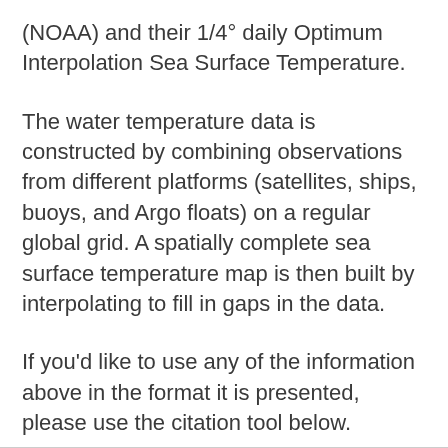(NOAA) and their 1/4° daily Optimum Interpolation Sea Surface Temperature.
The water temperature data is constructed by combining observations from different platforms (satellites, ships, buoys, and Argo floats) on a regular global grid. A spatially complete sea surface temperature map is then built by interpolating to fill in gaps in the data.
If you'd like to use any of the information above in the format it is presented, please use the citation tool below.